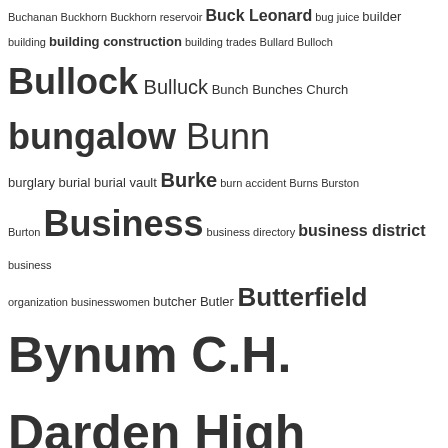Buchanan Buckhorn Buckhorn reservoir Buck Leonard bug juice builder building building construction building trades Bullard Bulloch Bullock Bulluck Bunch Bunches Church bungalow Bunn burglary burial burial vault Burke burn accident Burns Burston Burton Business business directory business district business organization businesswomen butcher Butler Butterfield Bynum C.H. Darden High School C.I.A.A. Cab Calloway cabin cabinetmaker cadetship cafe cakewalk Caldwell calendar calf Calhoun Calvary Presbyterian Cameron Campbell Camp Dodge Camp Greene cancer Cannady canning Cannon cantata cap and gown Cape Cod Cape Verde capital crime capital punishment card game caricature carjacli carnival Carolina Stompers Carolina Street carpenter Carr Carroll Carroll Street carte de visite Carter cartoon Case cash register casualty catalog Catholic Catholic school cemeteries cemetery cemetery cleanup cemetery plot cemetery preservation cemetery removal Cemetery Street census census: Tillman; dog trainer censustaker